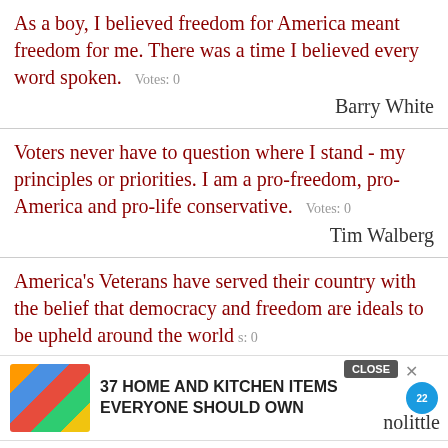As a boy, I believed freedom for America meant freedom for me. There was a time I believed every word spoken.  Votes: 0
Barry White
Voters never have to question where I stand - my principles or priorities. I am a pro-freedom, pro-America and pro-life conservative.  Votes: 0
Tim Walberg
America's Veterans have served their country with the belief that democracy and freedom are ideals to be upheld around the world.  Votes: 0
[Figure (screenshot): Advertisement banner: 37 HOME AND KITCHEN ITEMS EVERYONE SHOULD OWN with colorful storage bag image and a circular badge]
nolittle
America... goes not abroad, in search of monsters to destroy. She is the well wisher to